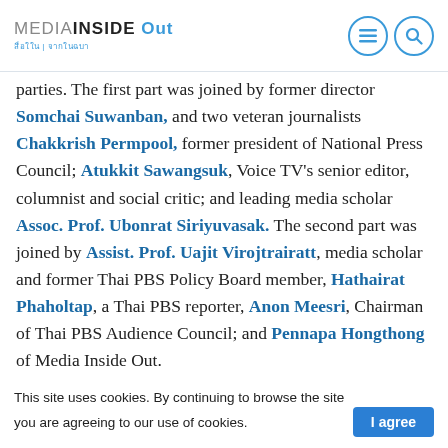MEDIA INSIDE OUT
parties. The first part was joined by former director Somchai Suwanban, and two veteran journalists Chakkrish Permpool, former president of National Press Council; Atukkit Sawangsuk, Voice TV's senior editor, columnist and social critic; and leading media scholar Assoc. Prof. Ubonrat Siriyuvasak. The second part was joined by Assist. Prof. Uajit Virojtrairatt, media scholar and former Thai PBS Policy Board member, Hathairat Phaholtap, a Thai PBS reporter, Anon Meesri, Chairman of Thai PBS Audience Council; and Pennapa Hongthong of Media Inside Out.
This site uses cookies. By continuing to browse the site you are agreeing to our use of cookies. I agree